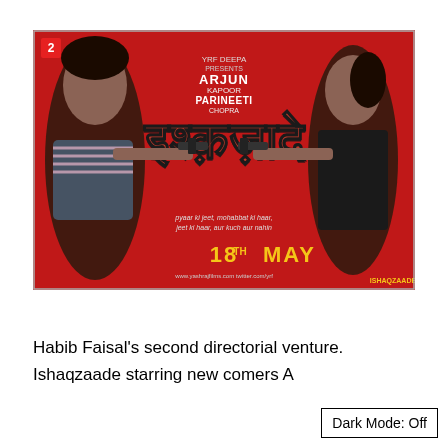[Figure (photo): Movie poster for 'Ishaqzaade' (Hindi film). Red background. Left side: young man with curly hair in striped shirt pointing a gun. Right side: young woman in black vest pointing a gun back at him. Hindi title text in large stylized letters in the center. Text at top reads 'YRF, Deepa presents ARJUN Kapoor PARINEETI Chopra'. Bottom center shows '18TH MAY' in yellow. Tagline text in Hindi script in lower middle area.]
Habib Faisal's second directorial venture. Ishaqzaade starring new comers A